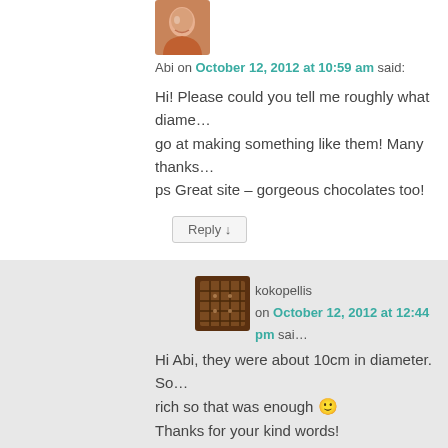[Figure (photo): Avatar photo of Abi, a woman with brown hair laughing]
Abi on October 12, 2012 at 10:59 am said:
Hi! Please could you tell me roughly what diame… go at making something like them! Many thanks… ps Great site – gorgeous chocolates too!
Reply ↓
[Figure (photo): Avatar image of a chocolate square, dark brown with cross-hatch pattern]
kokopellis on October 12, 2012 at 12:44 pm said:
Hi Abi, they were about 10cm in diameter. So… rich so that was enough 🙂
Thanks for your kind words!
Steph